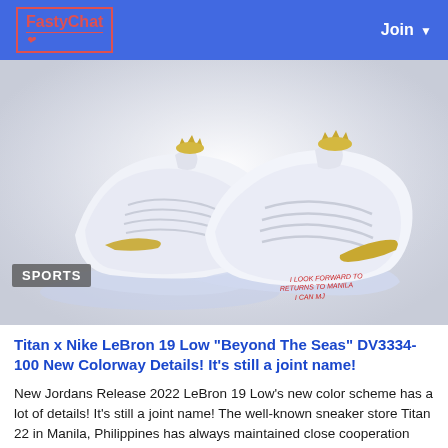FastyChat | Join
[Figure (photo): Two Nike LeBron 19 Low 'Beyond The Seas' sneakers in white and gold colorway with clear icy sole, shown from a side angle. Red handwritten text on the sole reads 'I LOOK FORWARD TO RETURNS TO MANILA I CAN MJ'. Badge overlay reads 'SPORTS'.]
Titan x Nike LeBron 19 Low "Beyond The Seas" DV3334-100 New Colorway Details! It's still a joint name!
New Jordans Release 2022 LeBron 19 Low's new color scheme has a lot of details! It's still a joint name! The well-known sneaker store Titan 22 in Manila, Philippines has always maintained close cooperation with Nike, and the joint shoes of the two parties have also attracted much attention. Even at 37 years old, LeBron James is still one of the most